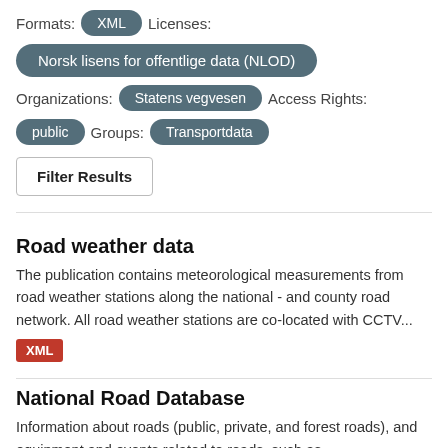Formats: XML   Licenses:
Norsk lisens for offentlige data (NLOD)
Organizations: Statens vegvesen   Access Rights:
public   Groups: Transportdata
Filter Results
Road weather data
The publication contains meteorological measurements from road weather stations along the national - and county road network. All road weather stations are co-located with CCTV...
XML
National Road Database
Information about roads (public, private, and forest roads), and equipment and events related to roads, such as